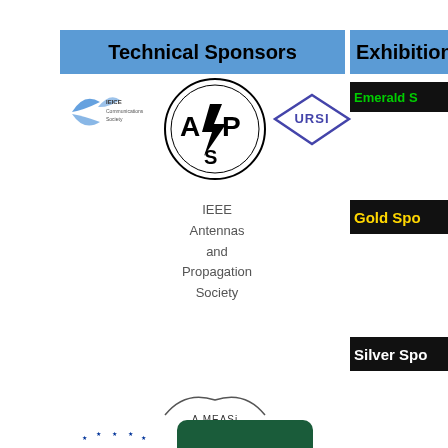Technical Sponsors
Exhibition S...
Emerald S...
Gold Spo...
Silver Spo...
[Figure (logo): IEICE Communications Society logo]
[Figure (logo): IEEE Antennas and Propagation Society (APS) circular logo]
[Figure (logo): URSI diamond-shaped logo]
IEEE
Antennas
and
Propagation
Society
[Figure (logo): A-MEASI logo]
[Figure (logo): EurAAP logo]
[Figure (logo): KIEES logo - green rounded rectangle with white text]
[Figure (logo): Taiwan Microwave association circular swoosh logo]
Taiwan
Microwave
[Figure (logo): ECTI Association logo]